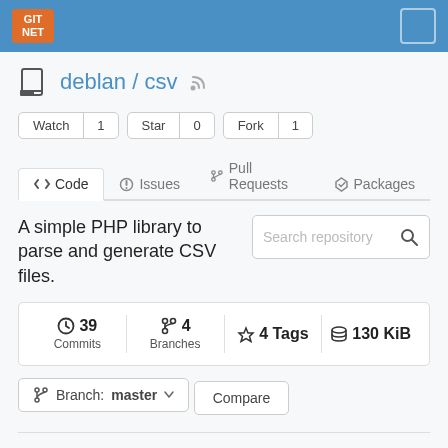GIT NET
deblan/csv
Watch 1  Star 0  Fork 1
<> Code  Issues  Pull Requests  Packages
A simple PHP library to parse and generate CSV files.
Search repository
39 Commits  4 Branches  4 Tags  130 KiB
Branch: master
Compare